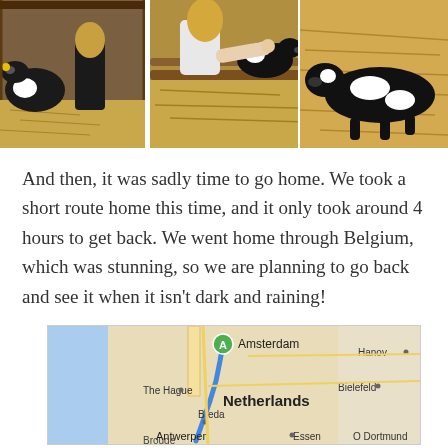[Figure (photo): Three photos side by side: left shows a woman with black and white cows in a barn with straw on the floor; center shows a woman reaching out to touch a black and white calf over a wooden rail with hay in background; right shows a black and white calf lying on straw.]
And then, it was sadly time to go home. We took a short route home this time, and it only took around 4 hours to get back. We went home through Belgium, which was stunning, so we are planning to go back and see it when it isn't dark and raining!
[Figure (map): Google Maps screenshot showing a route from Amsterdam southward through the Netherlands, passing through The Hague, Breda, and Antwerpen (in Belgium), with cities Hannover, Bielefeld, Essen, and Dortmund visible to the east. A blue route line runs from Amsterdam (marked with a green 'A' pin) southward. The Netherlands is labeled in bold.]